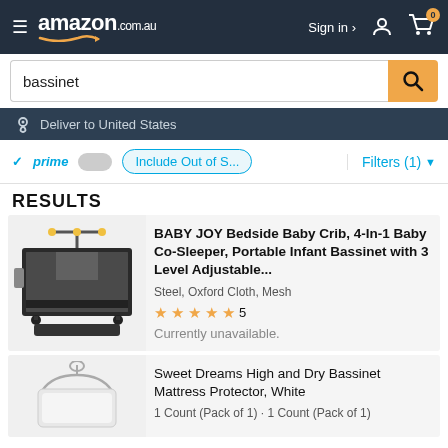amazon.com.au — Sign in — Cart (0)
bassinet (search query)
Deliver to United States
prime  Include Out of S...  Filters (1)
RESULTS
[Figure (photo): Baby JOY bedside baby crib product photo showing a dark grey portable infant bassinet with mobile toy bar, mesh sides, storage shelf, and carrying case]
BABY JOY Bedside Baby Crib, 4-In-1 Baby Co-Sleeper, Portable Infant Bassinet with 3 Level Adjustable...
Steel, Oxford Cloth, Mesh
★★★★½ 5
Currently unavailable.
[Figure (photo): Sweet Dreams High and Dry Bassinet Mattress Protector product photo showing white mattress protector on hanger]
Sweet Dreams High and Dry Bassinet Mattress Protector, White
1 Count (Pack of 1) · 1 Count (Pack of 1)